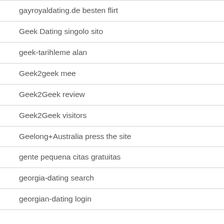gayroyaldating.de besten flirt
Geek Dating singolo sito
geek-tarihleme alan
Geek2geek mee
Geek2Geek review
Geek2Geek visitors
Geelong+Australia press the site
gente pequena citas gratuitas
georgia-dating search
georgian-dating login